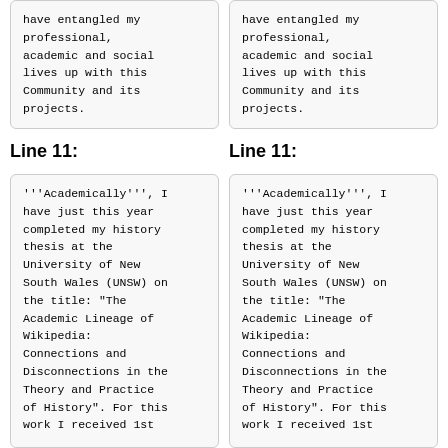have entangled my professional, academic and social lives up with this Community and its projects.
have entangled my professional, academic and social lives up with this Community and its projects.
Line 11:
Line 11:
'''Academically''', I have just this year completed my history thesis at the University of New South Wales (UNSW) on the title: "The Academic Lineage of Wikipedia: Connections and Disconnections in the Theory and Practice of History". For this work I received 1st
'''Academically''', I have just this year completed my history thesis at the University of New South Wales (UNSW) on the title: "The Academic Lineage of Wikipedia: Connections and Disconnections in the Theory and Practice of History". For this work I received 1st